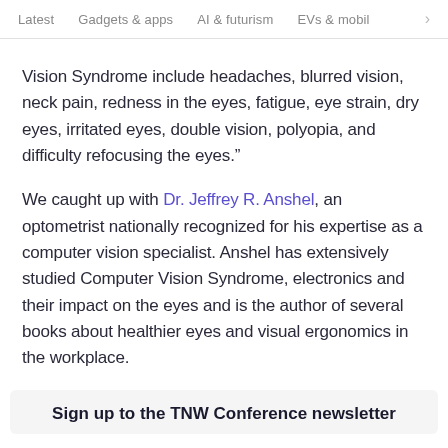Latest   Gadgets & apps   AI & futurism   EVs & mobil  >
Vision Syndrome include headaches, blurred vision, neck pain, redness in the eyes, fatigue, eye strain, dry eyes, irritated eyes, double vision, polyopia, and difficulty refocusing the eyes.”
We caught up with Dr. Jeffrey R. Anshel, an optometrist nationally recognized for his expertise as a computer vision specialist. Anshel has extensively studied Computer Vision Syndrome, electronics and their impact on the eyes and is the author of several books about healthier eyes and visual ergonomics in the workplace.
Sign up to the TNW Conference newsletter